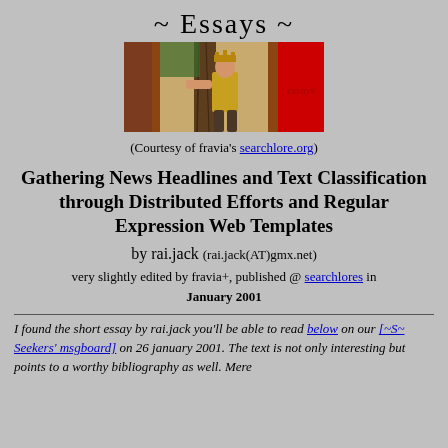~ Essays ~
[Figure (illustration): Banner image with medieval-style illustration of a figure touching a tree, flanked by brown and red rectangular panels with 'essays' text on the right red panel]
(Courtesy of fravia's searchlore.org)
Gathering News Headlines and Text Classification through Distributed Efforts and Regular Expression Web Templates
by rai.jack (rai.jack(AT)gmx.net)
very slightly edited by fravia+, published @ searchlores in January 2001
I found the short essay by rai.jack you'll be able to read below on our [~S~ Seekers' msgboard] on 26 january 2001. The text is not only interesting but points to a worthy bibliography as well. Mere